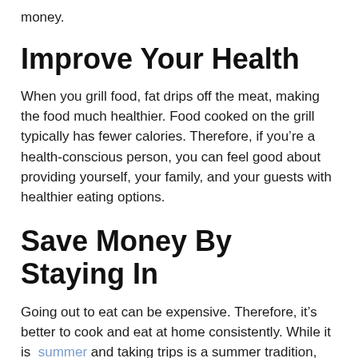money.
Improve Your Health
When you grill food, fat drips off the meat, making the food much healthier. Food cooked on the grill typically has fewer calories. Therefore, if you’re a health-conscious person, you can feel good about providing yourself, your family, and your guests with healthier eating options.
Save Money By Staying In
Going out to eat can be expensive. Therefore, it’s better to cook and eat at home consistently. While it is summer and taking trips is a summer tradition, outdoor kitchens bring the party to you. You can save money by staying in but still have fun by spending time with people that you love the most.